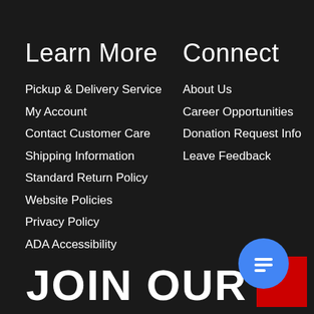Learn More
Pickup & Delivery Service
My Account
Contact Customer Care
Shipping Information
Standard Return Policy
Website Policies
Privacy Policy
ADA Accessibility
Connect
About Us
Career Opportunities
Donation Request Info
Leave Feedback
JOIN OUR
[Figure (illustration): Blue circular chat bubble icon overlapping a red square in the bottom-right corner]